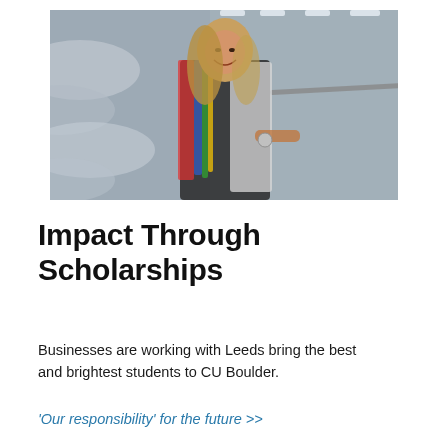[Figure (photo): A smiling woman with long blonde hair wearing a colorful striped jacket over a patterned white jacket, leaning on a railing in a modern building interior with curved architectural elements and overhead lighting.]
Impact Through Scholarships
Businesses are working with Leeds bring the best and brightest students to CU Boulder.
'Our responsibility' for the future >>